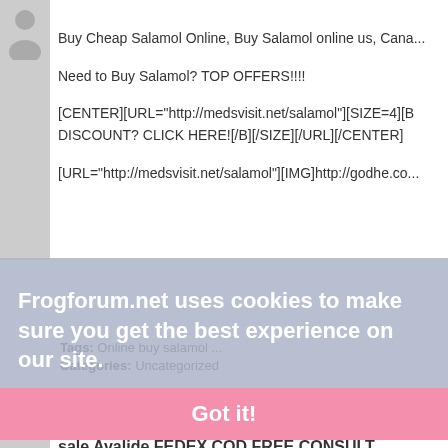[Figure (illustration): Gray avatar/user icon placeholder]
Buy Cheap Salamol Online, Buy Salamol online us, Cana...
Need to Buy Salamol? TOP OFFERS!!!!
[CENTER][URL="http://medsvisit.net/salamol"][SIZE=4][B DISCOUNT? CLICK HERE![/B][/SIZE][/URL][/CENTER]
[URL="http://medsvisit.net/salamol"][IMG]http://godhe.co...
Frogforum.net uses cookies to make sure you get the best experience on our site.
Learn more...
Tags: Online buy salamol ...
Categories: Uncategorized
Got it!
0 Comments
sale Avalide FEDEX COD FREE CONSULT...